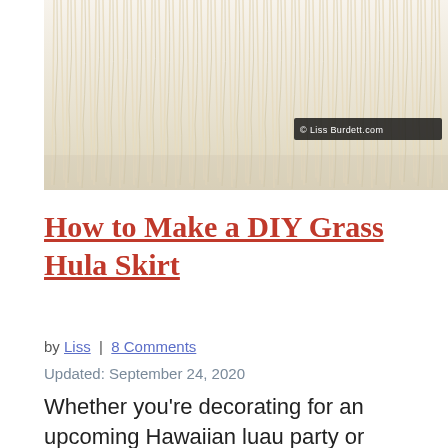[Figure (photo): A close-up photo of a DIY grass hula skirt made from white/cream-colored raffia or yarn strands hanging vertically, with a watermark reading '© LissBurdett.com' in the bottom right corner.]
How to Make a DIY Grass Hula Skirt
by Liss | 8 Comments
Updated: September 24, 2020
Whether you're decorating for an upcoming Hawaiian luau party or